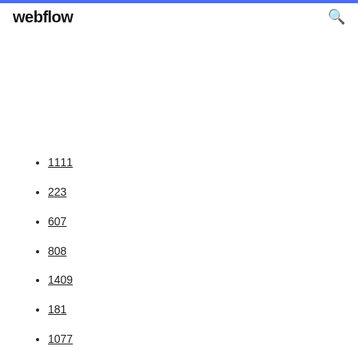webflow
1111
223
607
808
1409
181
1077
1260